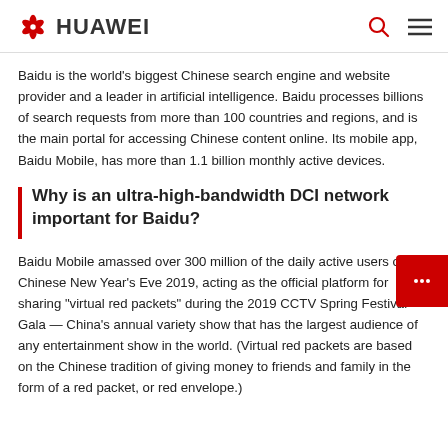HUAWEI
Baidu is the world's biggest Chinese search engine and website provider and a leader in artificial intelligence. Baidu processes billions of search requests from more than 100 countries and regions, and is the main portal for accessing Chinese content online. Its mobile app, Baidu Mobile, has more than 1.1 billion monthly active devices.
Why is an ultra-high-bandwidth DCI network important for Baidu?
Baidu Mobile amassed over 300 million of the daily active users on Chinese New Year's Eve 2019, acting as the official platform for sharing "virtual red packets" during the 2019 CCTV Spring Festival Gala — China's annual variety show that has the largest audience of any entertainment show in the world. (Virtual red packets are based on the Chinese tradition of giving money to friends and family in the form of a red packet, or red envelope.)